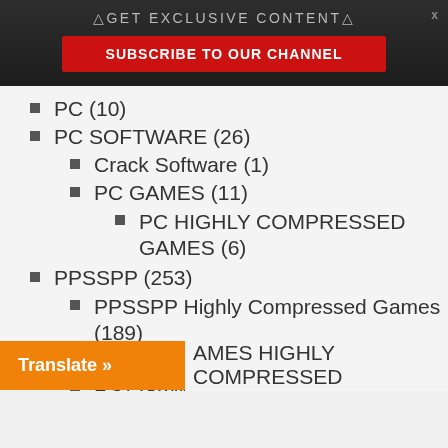△GET EXCLUSIVE CONTENT△
[Figure (other): Subscribe to our channel red button]
PC (10)
PC SOFTWARE (26)
Crack Software (1)
PC GAMES (11)
PC HIGHLY COMPRESSED GAMES (6)
PPSSPP (253)
PPSSPP Highly Compressed Games (189)
PS1 (3)
PS1 GAMES (3)
PS1 HIGHLY COMPRESSED GAMES (3)
PS2 (14)
AMES HIGHLY COMPRESSED
Translate »